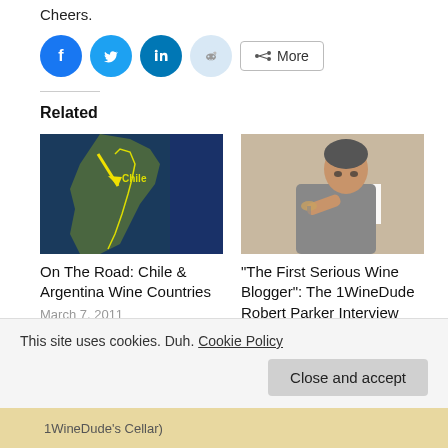Cheers.
[Figure (other): Social sharing buttons: Facebook (blue circle), Twitter (blue circle), LinkedIn (dark blue circle), Reddit (light blue circle), and a More button with share icon]
Related
[Figure (map): Satellite/aerial map image of Chile with a yellow arrow pointing to the region labeled Chile with yellow boundary lines]
On The Road: Chile & Argentina Wine Countries
March 7, 2011
In "on the road"
[Figure (photo): Photo of a man (Robert Parker) examining or smelling a wine glass, wearing a gray jacket]
"The First Serious Wine Blogger": The 1WineDude Robert Parker Interview
June 2, 2010
In "best of"
This site uses cookies. Duh. Cookie Policy
Close and accept
1WineDude's Cellar)